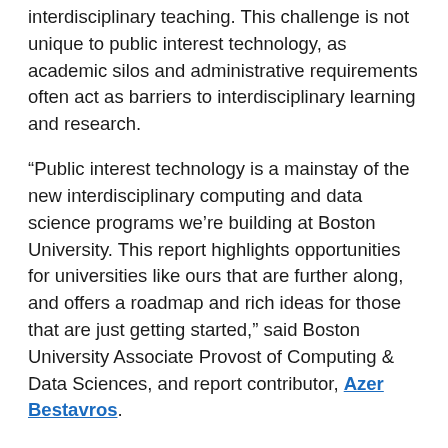interdisciplinary teaching. This challenge is not unique to public interest technology, as academic silos and administrative requirements often act as barriers to interdisciplinary learning and research.
“Public interest technology is a mainstay of the new interdisciplinary computing and data science programs we’re building at Boston University. This report highlights opportunities for universities like ours that are further along, and offers a roadmap and rich ideas for those that are just getting started,” said Boston University Associate Provost of Computing & Data Sciences, and report contributor, Azer Bestavros.